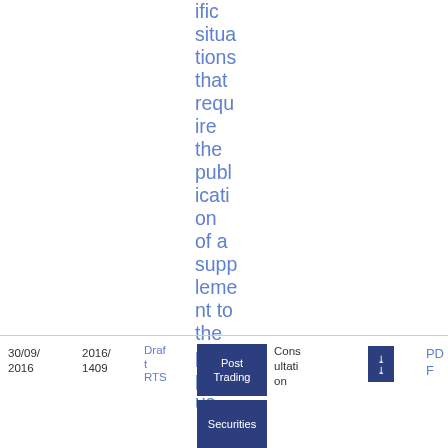ific situations that require the publication of a supplement to the prospectus
30/09/2016
2016/1409
Draft RTS
Post Trading
Consultati on
Securities
PDF